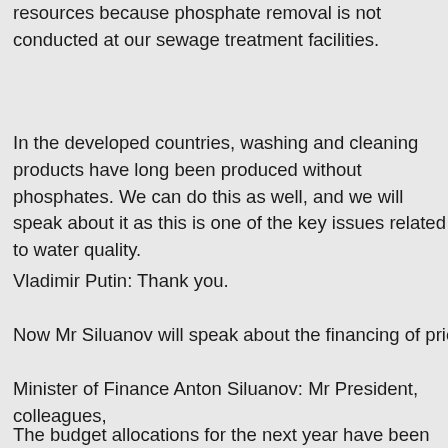resources because phosphate removal is not conducted at our sewage treatment facilities.
In the developed countries, washing and cleaning products have long been produced without phosphates. We can do this as well, and we will speak about it as this is one of the key issues related to water quality.
Vladimir Putin: Thank you.
Now Mr Siluanov will speak about the financing of priority project
Minister of Finance Anton Siluanov: Mr President, colleagues,
The budget allocations for the next year have been calculated wi consideration of the certificates of priority projects. The 2017–201 budget envisages budget allocations for implementing 10 priority projects. Amendments on redistribution of 104 billion rubles of the funds set aside for carrying out priority projects have been